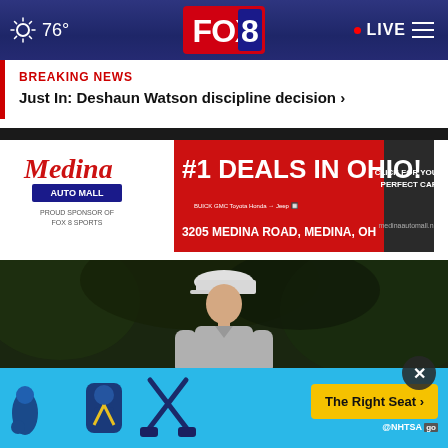FOX 8 - 76° LIVE
BREAKING NEWS
Just In: Deshaun Watson discipline decision ›
[Figure (photo): Medina Auto Mall advertisement banner: #1 DEALS IN OHIO! 3205 MEDINA ROAD, MEDINA, OH - medinaautomall.net - PROUD SPONSOR OF FOX 8 SPORTS]
[Figure (photo): Photo of a golfer wearing a white cap and gray polo shirt, walking on a golf course with trees in the background]
[Figure (photo): NHTSA advertisement: The Right Seat - showing child car seat safety icons on blue background]